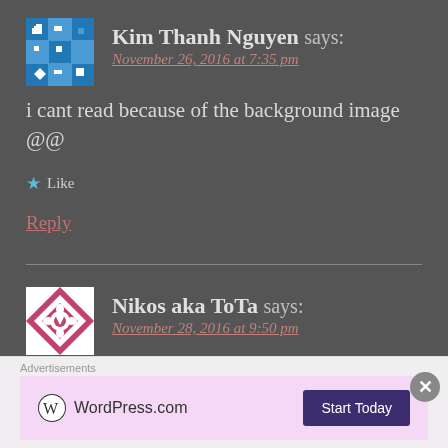[Figure (illustration): Avatar for Kim Thanh Nguyen - blue and white geometric pattern]
Kim Thanh Nguyen says:
November 26, 2016 at 7:35 pm
i cant read because of the background image @@
★ Like
Reply
[Figure (illustration): Avatar for Nikos aka ToTa - pink and white diamond/floral pattern]
Nikos aka ToTa says:
November 28, 2016 at 9:50 pm
any tips for extreme upgrades or eveb a full guide?
Advertisements
[Figure (screenshot): WordPress.com advertisement banner with Start Today button]